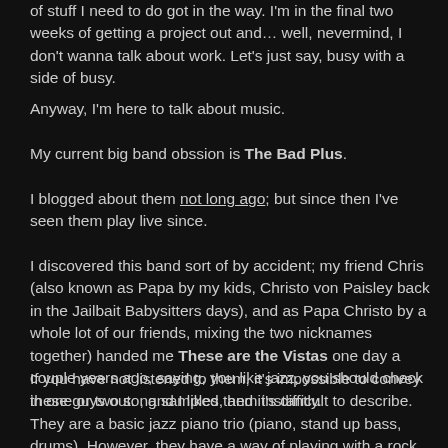of stuff I need to do got in the way. I'm in the final two weeks of getting a project out and… well, nevermind, I don't wanna talk about work. Let's just say, busy with a side of busy.
Anyway, I'm here to talk about music.
My current big band obssion is The Bad Plus.
I blogged about them not long ago; but since then I've seen them play live since.
I discovered this band sort of by accident; my friend Chris (also known as Papa by my kids, Christo von Paisley back in the Jailbait Babysitters days), and as Papa Christo by a whole lot of our friends, mixing the two nicknames together) handed me These are the Vistas one day a couple years ago, saying, you like jazz, you should check these guys out. , and I liked them instantly.
If you have not listened to them, it's impossible to convey in one or two song samples, and it's difficult to describe. They are a basic jazz piano trio (piano, stand up bass, drums). However, they have a way of playing with a rock sensibility, even while